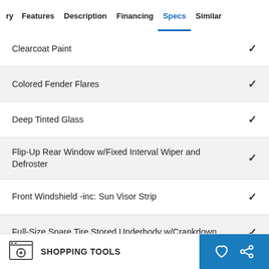ry  Features  Description  Financing  Specs  Similar
Clearcoat Paint ✓
Colored Fender Flares ✓
Deep Tinted Glass ✓
Flip-Up Rear Window w/Fixed Interval Wiper and Defroster ✓
Front Windshield -inc: Sun Visor Strip ✓
Full-Size Spare Tire Stored Underbody w/Crankdown ✓
SHOPPING TOOLS